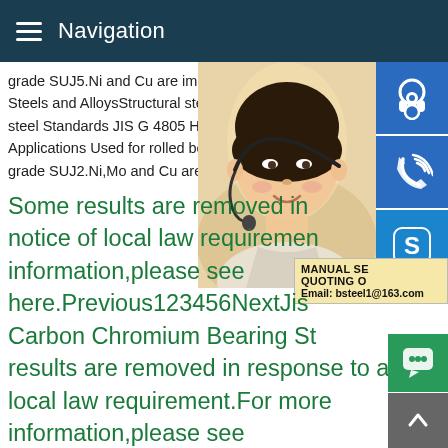Navigation
grade SUJ5.Ni and Cu are impurities C Si Steels and AlloysStructural steel High carbon steel Standards JIS G 4805 High carbon c Applications Used for rolled bearings Chemical grade SUJ2.Ni,Mo and Cu are impurities C
Some results are removed in response to a notice of local law requirements. For more information,please see here.Previous123456NextJis Carbon Chromium Bearing Steel Some results are removed in response to a notice of local law requirement.For more information,please see here.12345NextEngineering Steel Supplier Some results are removed in response to a notice of local law requirement.For more information,please see here.
[Figure (photo): Photo of a woman wearing a headset, customer service representative, with teal/beige background. Three blue contact icon buttons (headset, phone, Skype) overlaid on the right side.]
MANUAL SE
QUOTING O
Email: bsteel1@163.com